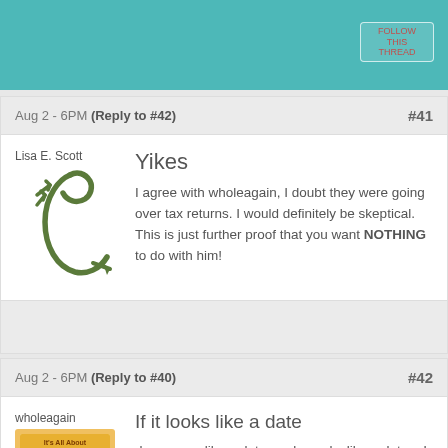Aug 2 - 6PM (Reply to #42) #41
[Figure (logo): Stylized green letter L with arrow design, Lisa E. Scott author logo]
Yikes
I agree with wholeagain, I doubt they were going over tax returns. I would definitely be skeptical. This is just further proof that you want NOTHING to do with him!
Aug 2 - 6PM (Reply to #40) #42
[Figure (photo): Book cover: It's All About HIM]
If it looks like a date
dresses up like a date, and quacks like a date... I doubt they were going over old tax